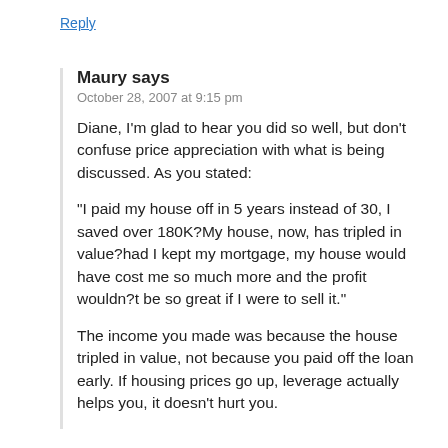Reply
Maury says
October 28, 2007 at 9:15 pm
Diane, I'm glad to hear you did so well, but don't confuse price appreciation with what is being discussed. As you stated:
“I paid my house off in 5 years instead of 30, I saved over 180K?My house, now, has tripled in value?had I kept my mortgage, my house would have cost me so much more and the profit wouldn?t be so great if I were to sell it.”
The income you made was because the house tripled in value, not because you paid off the loan early. If housing prices go up, leverage actually helps you, it doesn’t hurt you.